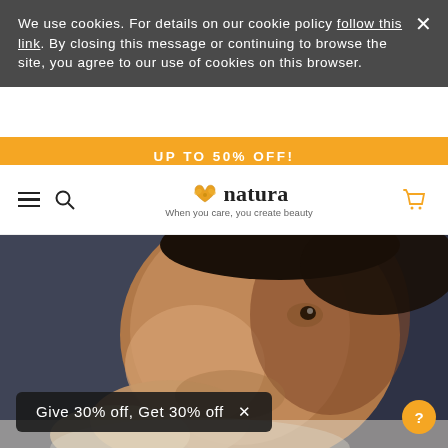We use cookies. For details on our cookie policy follow this link. By closing this message or continuing to browse the site, you agree to our use of cookies on this browser.
UP TO 50% OFF!
[Figure (logo): Natura brand logo with leaf/flower icon and tagline 'When you care, you create beauty']
[Figure (photo): Close-up portrait of a man touching his neck/jaw, dark background, cosmetics/grooming context]
Give 30% off, Get 30% off  ×